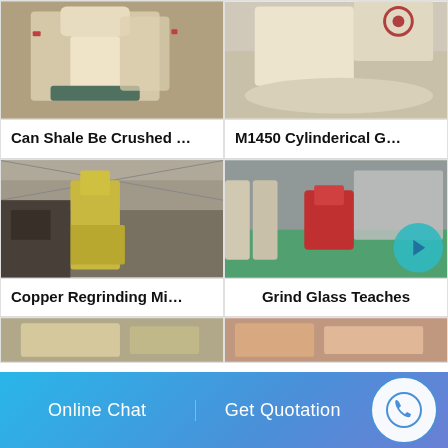[Figure (photo): Industrial grinding/crushing machine, cream/beige color, in factory setting]
Can Shale Be Crushed …
[Figure (photo): M1450 cylindrical grinding machine, white/cream color, large circular base, factory floor]
M1450 Cylinderical G…
[Figure (photo): Copper regrinding mill equipment, yellow/green industrial machinery in warehouse]
Copper Regrinding Mi…
[Figure (photo): Large industrial factory floor with grinding equipment, teal/green floor, red machinery]
Grind Glass Teaches
[Figure (photo): Partial view of product/machine, bottom row partially visible]
[Figure (photo): Partial view of product/machine, bottom row partially visible]
Online Chat
Get Quotation